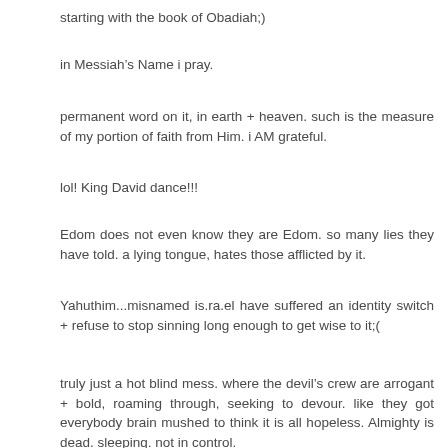starting with the book of Obadiah;)
in Messiah’s Name i pray.
permanent word on it, in earth + heaven. such is the measure of my portion of faith from Him. i AM grateful.
lol! King David dance!!!
Edom does not even know they are Edom. so many lies they have told. a lying tongue, hates those afflicted by it.
Yahuthim...misnamed is.ra.el have suffered an identity switch + refuse to stop sinning long enough to get wise to it;(
truly just a hot blind mess. where the devil’s crew are arrogant + bold, roaming through, seeking to devour. like they got everybody brain mushed to think it is all hopeless. Almighty is dead. sleeping. not in control.
the devil is a liar + loser.